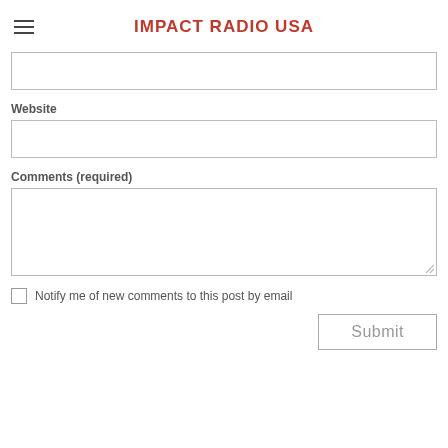IMPACT RADIO USA
[Figure (screenshot): Partial text input box at top of form (cropped)]
Website
[Figure (screenshot): Website text input field]
Comments (required)
[Figure (screenshot): Comments textarea input field]
Notify me of new comments to this post by email
Submit